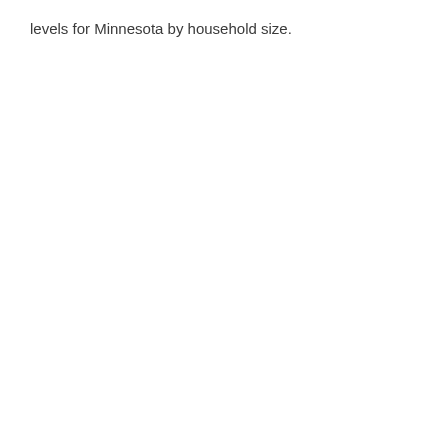levels for Minnesota by household size.